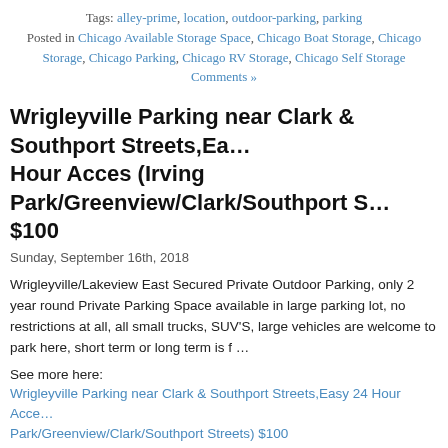Tags: alley-prime, location, outdoor-parking, parking
Posted in Chicago Available Storage Space, Chicago Boat Storage, Chicago Storage, Chicago Parking, Chicago RV Storage, Chicago Self Storage
Comments »
Wrigleyville Parking near Clark & Southport Streets,Easy 24 Hour Acces (Irving Park/Greenview/Clark/Southport S) $100
Sunday, September 16th, 2018
Wrigleyville/Lakeview East Secured Private Outdoor Parking, only 2 year round Private Parking Space available in large parking lot, no restrictions at all, all small trucks, SUV'S, large vehicles are welcome to park here, short term or long term is f …
See more here:
Wrigleyville Parking near Clark & Southport Streets,Easy 24 Hour Acce Park/Greenview/Clark/Southport Streets) $100
[Figure (other): Share/Save button with social media icons for Facebook, Twitter, and Google+]
Tags: lakeview-east, large-vehicles, long-term, outdoor-parking, private, parking, secured, secured-private, short-term, space, suv, term-or-long
Posted in Chicago Available Storage Space, Chicago Boat Storage, Chic